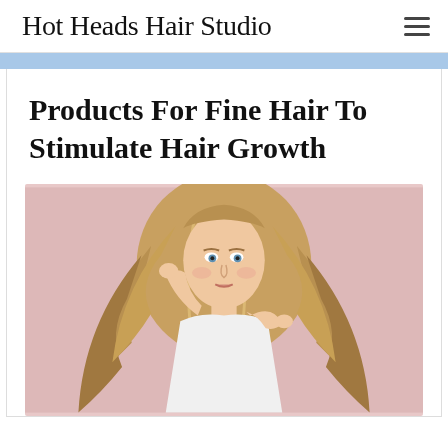Hot Heads Hair Studio
Products For Fine Hair To Stimulate Hair Growth
[Figure (photo): Young woman with long, voluminous wavy blonde hair posing against a pink/mauve background, wearing a white top, touching her hair with both hands.]